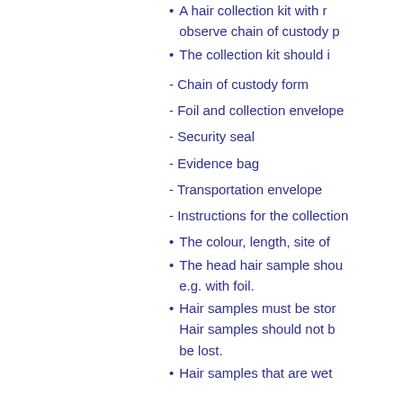A hair collection kit with r observe chain of custody p
The collection kit should i
- Chain of custody form
- Foil and collection envelope
- Security seal
- Evidence bag
- Transportation envelope
- Instructions for the collection
The colour, length, site of
The head hair sample shou e.g. with foil.
Hair samples must be stor Hair samples should not b be lost.
Hair samples that are wet